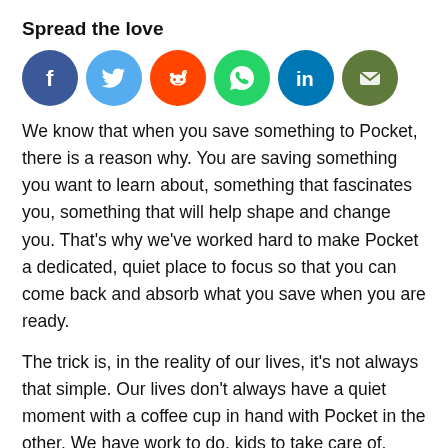Spread the love
[Figure (illustration): Six social media sharing icons in colored circles: Facebook (dark blue), Twitter (light blue), Reddit (orange), WhatsApp (green), LinkedIn (dark blue), Email (olive green)]
We know that when you save something to Pocket, there is a reason why. You are saving something you want to learn about, something that fascinates you, something that will help shape and change you. That’s why we’ve worked hard to make Pocket a dedicated, quiet place to focus so that you can come back and absorb what you save when you are ready.
The trick is, in the reality of our lives, it’s not always that simple. Our lives don’t always have a quiet moment with a coffee cup in hand with Pocket in the other. We have work to do, kids to take care of, school to attend. But with Pocket we’ve always worked hard to ensure that Pocket gives you tools to fit content around your life, freeing you from the moment of distraction and putting you in control.
Today, we’re excited to share a new Pocket, that makes it